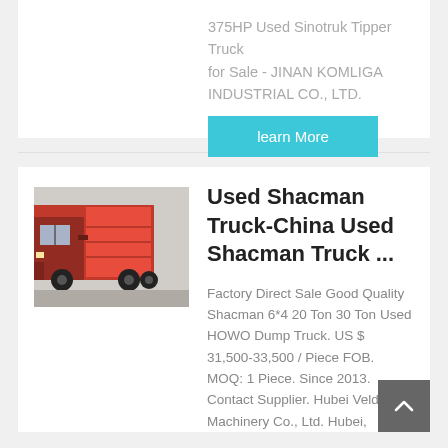375HP Used Sinotruk Tipper Truck for Sale - JINAN KOMLIGA INDUSTRIAL CO., LTD.
learn More
Used Shacman Truck-China Used Shacman Truck ...
Factory Direct Sale Good Quality Shacman 6*4 20 Ton 30 Ton Used HOWO Dump Truck. US $ 31,500-33,500 / Piece FOB. MOQ: 1 Piece. Since 2013. Contact Supplier. Hubei Veldlion Machinery Co., Ltd. Hubei,
[Figure (photo): Red used Shacman garbage/dump truck photographed from the side-rear, showing red cab and red body/compactor unit.]